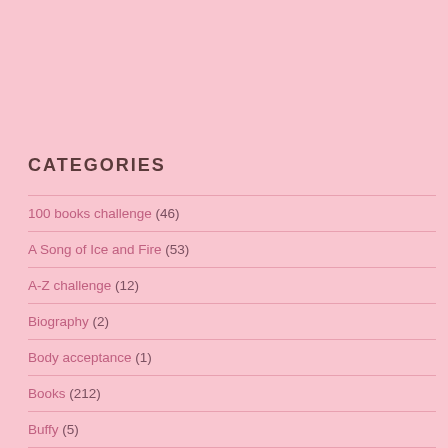CATEGORIES
100 books challenge (46)
A Song of Ice and Fire (53)
A-Z challenge (12)
Biography (2)
Body acceptance (1)
Books (212)
Buffy (5)
Characters (5)
Classics (15)
Conventions; (3)